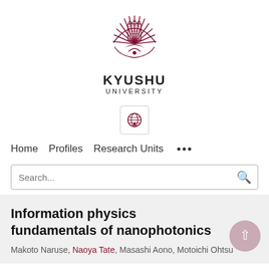[Figure (logo): Kyushu University logo — a stylized phoenix/fan design in dark red, with text KYUSHU UNIVERSITY beneath]
[Figure (screenshot): Globe icon in a bordered box, representing language/region selector]
Home   Profiles   Research Units   ...
Search...
Information physics fundamentals of nanophotonics
Makoto Naruse, Naoya Tate, Masashi Aono, Motoichi Ohtsu